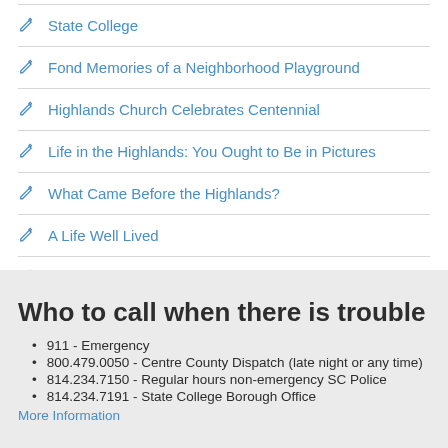State College
Fond Memories of a Neighborhood Playground
Highlands Church Celebrates Centennial
Life in the Highlands: You Ought to Be in Pictures
What Came Before the Highlands?
A Life Well Lived
Living in the Highlands as Young Professionals
Who to call when there is trouble
911 - Emergency
800.479.0050 - Centre County Dispatch (late night or any time)
814.234.7150 - Regular hours non-emergency SC Police
814.234.7191 - State College Borough Office
More Information